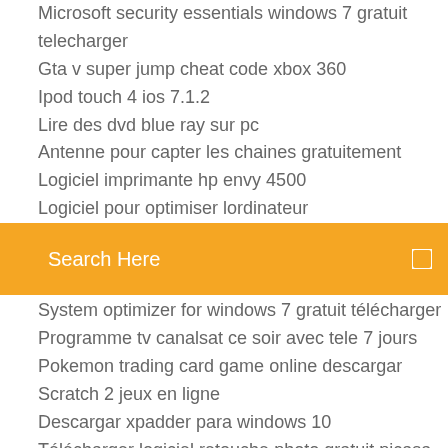Microsoft security essentials windows 7 gratuit telecharger
Gta v super jump cheat code xbox 360
Ipod touch 4 ios 7.1.2
Lire des dvd blue ray sur pc
Antenne pour capter les chaines gratuitement
Logiciel imprimante hp envy 4500
Logiciel pour optimiser lordinateur
[Figure (screenshot): Orange search bar with text 'Search Here' and a search icon on the right]
System optimizer for windows 7 gratuit télécharger
Programme tv canalsat ce soir avec tele 7 jours
Pokemon trading card game online descargar
Scratch 2 jeux en ligne
Descargar xpadder para windows 10
Télécharger logiciel retouche photo gratuit picasa
Google earth sans internet
Telecharger solitaire francais gratuit windows 8
Euro truck simulator 2 demo version gratuit télécharger
Convertisseur mp3 mp4 wma gratuit